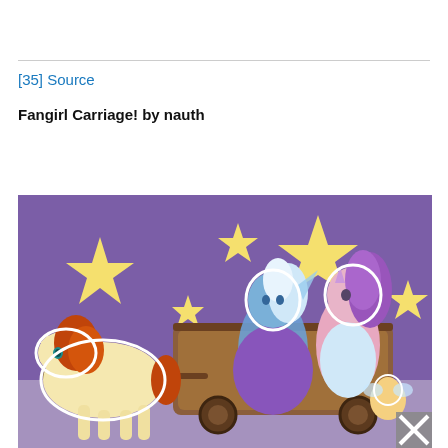[35] Source
Fangirl Carriage! by nauth
[Figure (illustration): Fan art illustration showing animated pony and humanoid characters in a carriage against a purple starry background. A golden/orange pony pulls the carriage on the left. Two humanoid female figures (one blue-skinned with white hair in a purple cloak, one pink-skinned with purple hair) sit in the carriage. A small fairy-like character appears at the bottom right. Yellow stars decorate the purple background. The image is partially cut off at the bottom.]